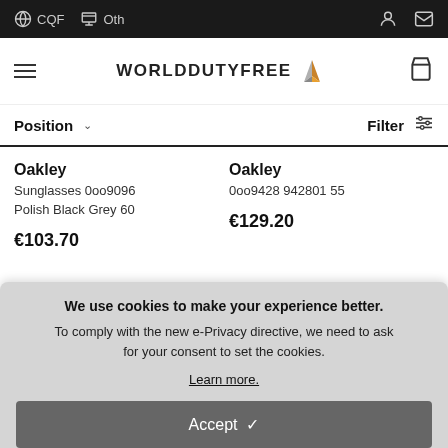CQF  Oth
[Figure (logo): World Duty Free logo with stylized arrow/wing icon]
Position  Filter
Oakley
Sunglasses 0oo9096 Polish Black Grey 60
€103.70
Oakley
0oo9428 942801 55
€129.20
We use cookies to make your experience better. To comply with the new e-Privacy directive, we need to ask for your consent to set the cookies.
Learn more.
Accept